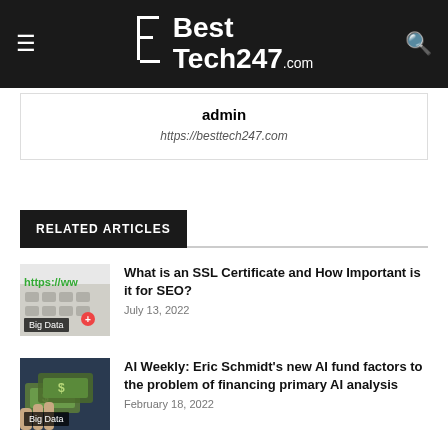BestTech247.com
admin
https://besttech247.com
RELATED ARTICLES
[Figure (photo): Keyboard with https://ww visible, green https text and red button. Badge: Big Data]
What is an SSL Certificate and How Important is it for SEO?
July 13, 2022
[Figure (photo): Hands holding US dollar bills. Badge: Big Data]
AI Weekly: Eric Schmidt's new AI fund factors to the problem of financing primary AI analysis
February 18, 2022